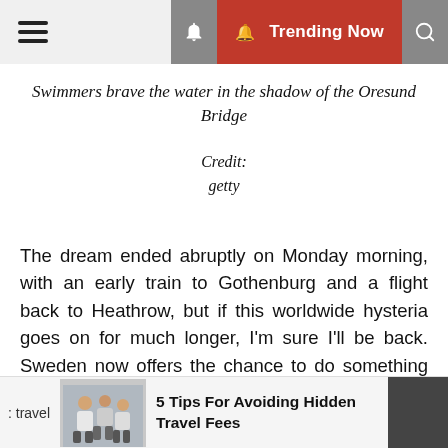≡  🔔 Trending Now  🔍
Swimmers brave the water in the shadow of the Oresund Bridge

Credit:
getty
The dream ended abruptly on Monday morning, with an early train to Gothenburg and a flight back to Heathrow, but if this worldwide hysteria goes on for much longer, I'm sure I'll be back. Sweden now offers the chance to do something truly special: travel back in time. For anyone else missing the world before Covid, go while you still can.
: travel   5 Tips For Avoiding Hidden Travel Fees